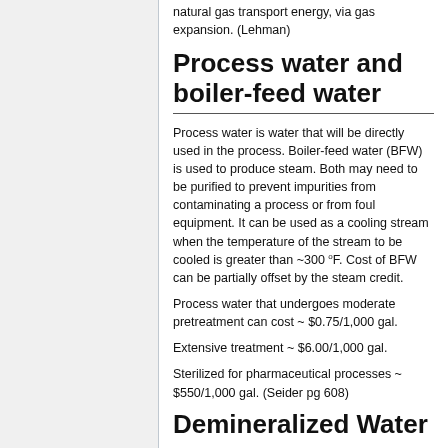natural gas transport energy, via gas expansion. (Lehman)
Process water and boiler-feed water
Process water is water that will be directly used in the process. Boiler-feed water (BFW) is used to produce steam. Both may need to be purified to prevent impurities from contaminating a process or from foul equipment. It can be used as a cooling stream when the temperature of the stream to be cooled is greater than ~300 °F. Cost of BFW can be partially offset by the steam credit.
Process water that undergoes moderate pretreatment can cost ~ $0.75/1,000 gal.
Extensive treatment ~ $6.00/1,000 gal.
Sterilized for pharmaceutical processes ~ $550/1,000 gal. (Seider pg 608)
Demineralized Water